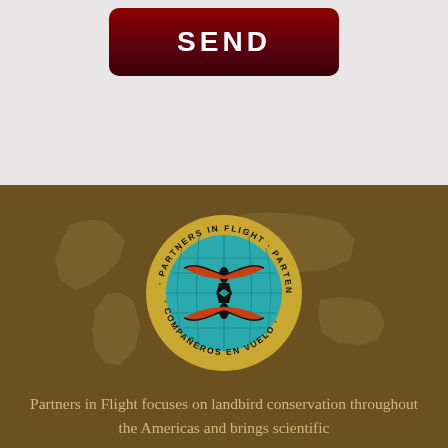[Figure (other): Dark red/maroon rounded rectangle button with the word SEND in white bold capital letters]
[Figure (logo): Partners in Flight circular logo showing two birds on a teal globe, surrounded by text: PARTNERS IN FLIGHT · PARTENAIRES D'ENVOL · COMPAÑEROS EN VUELO]
Partners in Flight focuses on landbird conservation throughout the Americas and brings scientific